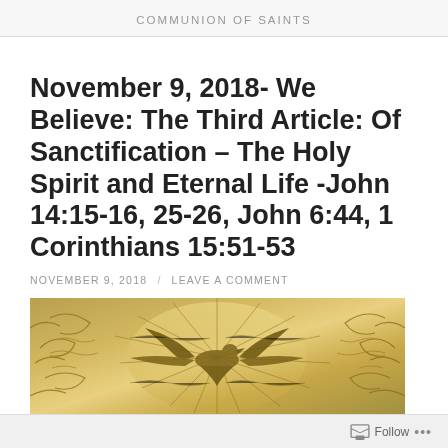COMMUNION OF SAINTS
November 9, 2018- We Believe: The Third Article: Of Sanctification – The Holy Spirit and Eternal Life -John 14:15-16, 25-26, John 6:44, 1 Corinthians 15:51-53
NOVEMBER 9, 2018 / LEAVE A COMMENT
[Figure (illustration): Religious illustration showing a dove with outstretched wings and radiating rays of light, flanked by decorative scrollwork, in golden/amber tones — symbol of the Holy Spirit.]
Follow